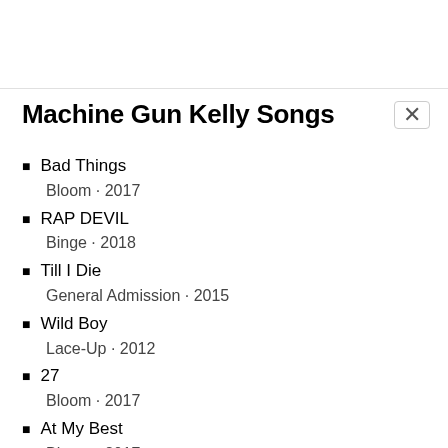Machine Gun Kelly Songs
Bad Things
Bloom · 2017
RAP DEVIL
Binge · 2018
Till I Die
General Admission · 2015
Wild Boy
Lace-Up · 2012
27
Bloom · 2017
At My Best
Bloom · 2017
Home
Bright: The Album · 2017